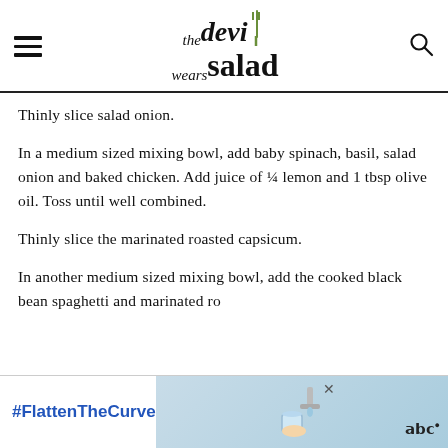the devi wears salad
Thinly slice salad onion.
In a medium sized mixing bowl, add baby spinach, basil, salad onion and baked chicken. Add juice of ¼ lemon and 1 tbsp olive oil. Toss until well combined.
Thinly slice the marinated roasted capsicum.
In another medium sized mixing bowl, add the cooked black bean spaghetti and marinated ro...
[Figure (screenshot): Advertisement banner with #FlattenTheCurve text and hand-washing image]